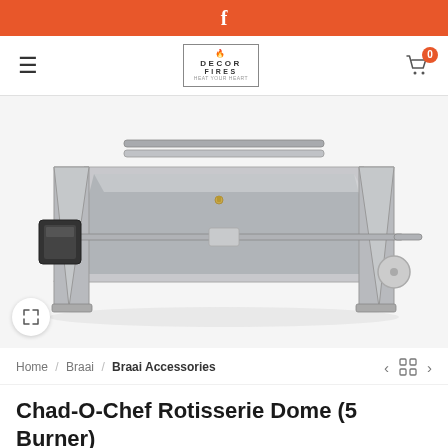f
[Figure (logo): Decor Fires logo with flame icon and border]
[Figure (photo): Chad-O-Chef Rotisserie Dome (5 Burner) – stainless steel rotisserie unit with motor on left, spit rod, and circular end supports, viewed from front-left angle on white background]
Home / Braai / Braai Accessories
Chad-O-Chef Rotisserie Dome (5 Burner)
R3,799.00